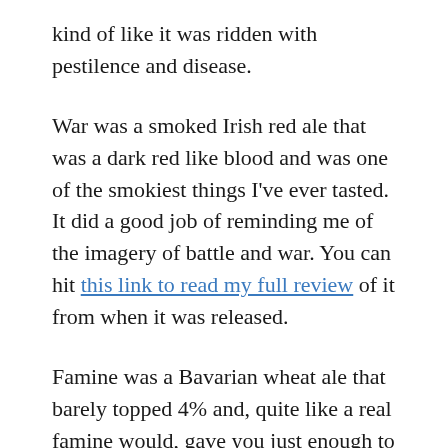kind of like it was ridden with pestilence and disease.
War was a smoked Irish red ale that was a dark red like blood and was one of the smokiest things I've ever tasted. It did a good job of reminding me of the imagery of battle and war. You can hit this link to read my full review of it from when it was released.
Famine was a Bavarian wheat ale that barely topped 4% and, quite like a real famine would, gave you just enough to get by but left you wanting a lot more. Like War and Famine they weren't really great tasting beers but man did it nail the concept of famine. Check the full